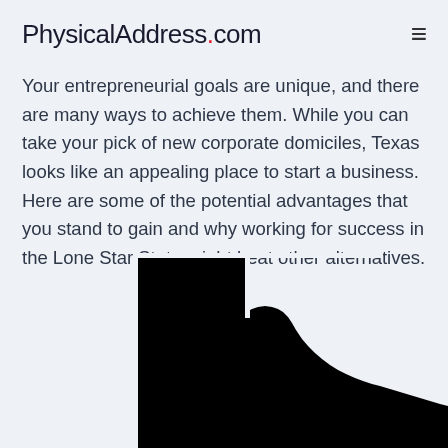PhysicalAddress.com
Your entrepreneurial goals are unique, and there are many ways to achieve them. While you can take your pick of new corporate domiciles, Texas looks like an appealing place to start a business. Here are some of the potential advantages that you stand to gain and why working for success in the Lone Star State might beat other alternatives.
[Figure (illustration): Silhouette map of the state of Texas in black, partially cropped at the bottom of the page]